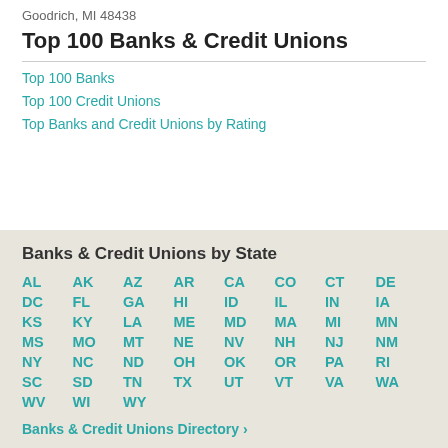Goodrich, MI 48438
Top 100 Banks & Credit Unions
Top 100 Banks
Top 100 Credit Unions
Top Banks and Credit Unions by Rating
Banks & Credit Unions by State
AL AK AZ AR CA CO CT DE DC FL GA HI ID IL IN IA KS KY LA ME MD MA MI MN MS MO MT NE NV NH NJ NM NY NC ND OH OK OR PA RI SC SD TN TX UT VT VA WA WV WI WY
Banks & Credit Unions Directory ›